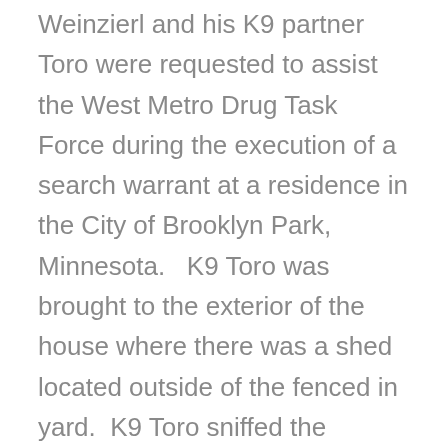Weinzierl and his K9 partner Toro were requested to assist the West Metro Drug Task Force during the execution of a search warrant at a residence in the City of Brooklyn Park, Minnesota.   K9 Toro was brought to the exterior of the house where there was a shed located outside of the fenced in yard.  K9 Toro sniffed the interior of the shed with no alerts or changes in behavior noticed.  They exited the shed and began to detail on lead the exterior of the shed.  At the back of the exterior of the shed, a noticeable change in Toro's behavior was noticed.  Toro's body became tense and moving excitedly as he sniffed the base of a wood pallet with a